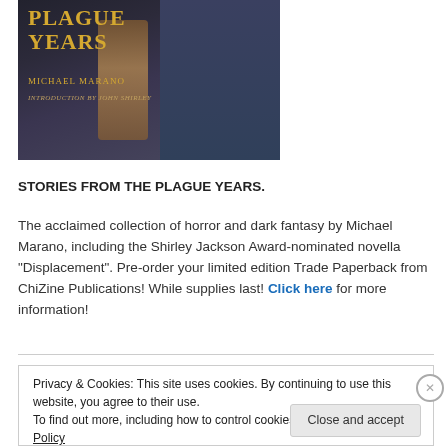[Figure (illustration): Book cover for 'Stories from the Plague Years' by Michael Marano, introduction by John Shirley. Dark fantasy/horror imagery with gold title text on a dark background.]
STORIES FROM THE PLAGUE YEARS.
The acclaimed collection of horror and dark fantasy by Michael Marano, including the Shirley Jackson Award-nominated novella "Displacement". Pre-order your limited edition Trade Paperback from ChiZine Publications! While supplies last! Click here for more information!
Privacy & Cookies: This site uses cookies. By continuing to use this website, you agree to their use.
To find out more, including how to control cookies, see here: Cookie Policy
Close and accept